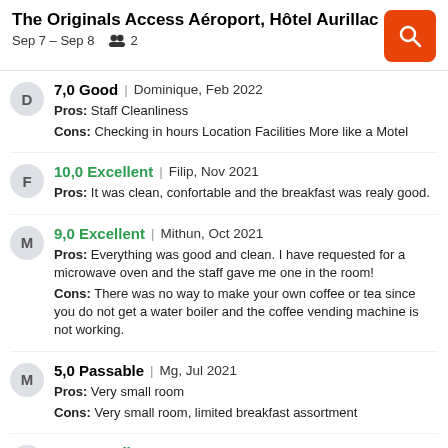The Originals Access Aéroport, Hôtel Aurillac
Sep 7 – Sep 8   2
7,0 Good | Dominique, Feb 2022
Pros: Staff Cleanliness
Cons: Checking in hours Location Facilities More like a Motel
10,0 Excellent | Filip, Nov 2021
Pros: It was clean, confortable and the breakfast was realy good.
9,0 Excellent | Mithun, Oct 2021
Pros: Everything was good and clean. I have requested for a microwave oven and the staff gave me one in the room!
Cons: There was no way to make your own coffee or tea since you do not get a water boiler and the coffee vending machine is not working.
5,0 Passable | Mg, Jul 2021
Pros: Very small room
Cons: Very small room, limited breakfast assortment
10,0 Excellent | Fiona, Aug 2020